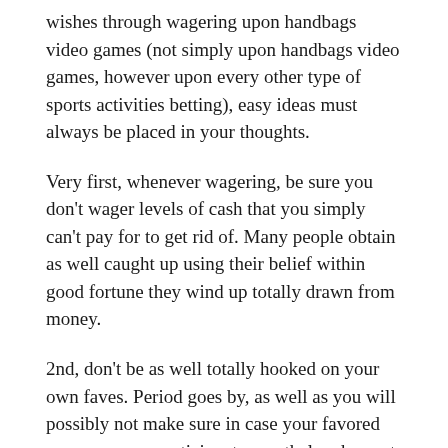wishes through wagering upon handbags video games (not simply upon handbags video games, however upon every other type of sports activities betting), easy ideas must always be placed in your thoughts.
Very first, whenever wagering, be sure you don't wager levels of cash that you simply can't pay for to get rid of. Many people obtain as well caught up using their belief within good fortune they wind up totally drawn from money.
2nd, don't be as well totally hooked on your own faves. Period goes by, as well as you will possibly not make sure in case your favored group or even participant nevertheless has got the exact same benefits he's the final period he or she received.
3rd, disregard background. Must be group managed...